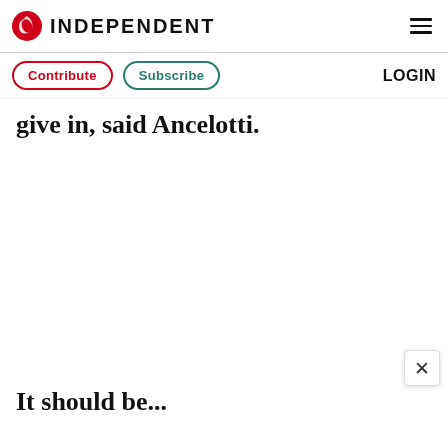INDEPENDENT
Contribute  Subscribe  LOGIN
give in,  said Ancelotti.
It should be...